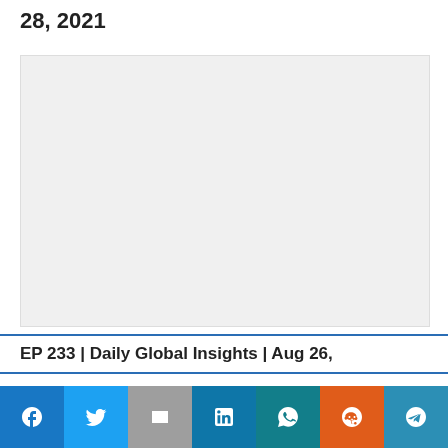28, 2021
[Figure (other): Light gray placeholder image area]
EP 233 | Daily Global Insights | Aug 26,
This website uses cookies. Accept
[Figure (infographic): Social share bar with Facebook, Twitter, Gmail, LinkedIn, WhatsApp, Reddit, Telegram icons]